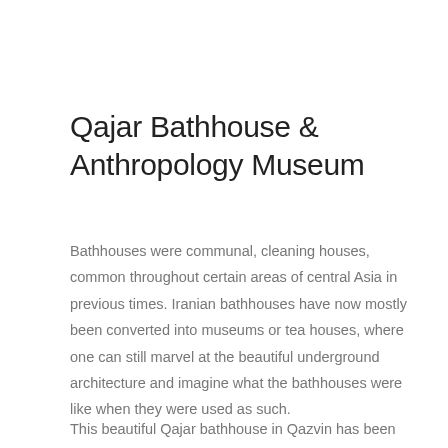Qajar Bathhouse & Anthropology Museum
Bathhouses were communal, cleaning houses, common throughout certain areas of central Asia in previous times. Iranian bathhouses have now mostly been converted into museums or tea houses, where one can still marvel at the beautiful underground architecture and imagine what the bathhouses were like when they were used as such.
This beautiful Qajar bathhouse in Qazvin has been